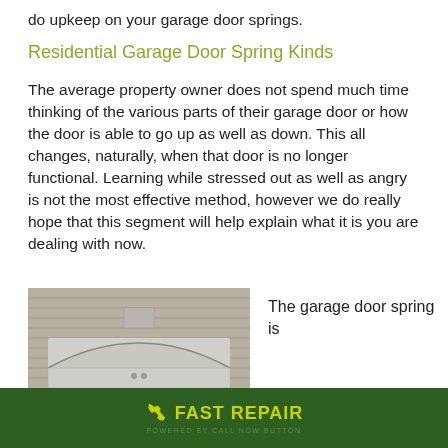do upkeep on your garage door springs.
Residential Garage Door Spring Kinds
The average property owner does not spend much time thinking of the various parts of their garage door or how the door is able to go up as well as down. This all changes, naturally, when that door is no longer functional. Learning while stressed out as well as angry is not the most effective method, however we do really hope that this segment will help explain what it is you are dealing with now.
[Figure (photo): Exterior view of a house garage with gray siding and an arched garage door.]
The garage door spring is
FAST REPAIR  POWERED BY CALL NOW BUTTON